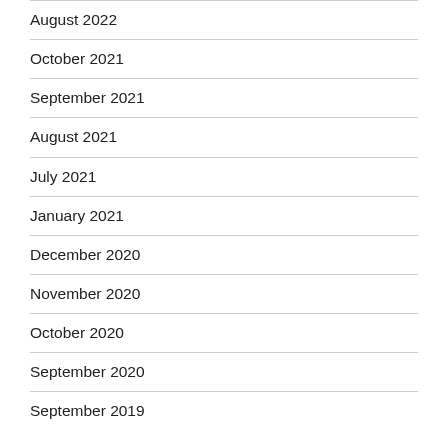August 2022
October 2021
September 2021
August 2021
July 2021
January 2021
December 2020
November 2020
October 2020
September 2020
September 2019